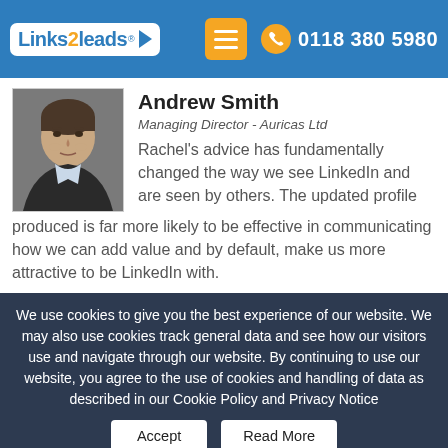[Figure (logo): Links2Leads logo with white background box, blue text, orange '2', and right-pointing arrow]
0118 380 5980
Andrew Smith
Managing Director - Auricas Ltd
[Figure (photo): Headshot of Andrew Smith, a middle-aged man in a dark blazer against a grey background]
Rachel's advice has fundamentally changed the way we see LinkedIn and are seen by others. The updated profile produced is far more likely to be effective in communicating how we can add value and by default, make us more attractive to be LinkedIn with.
We use cookies to give you the best experience of our website. We may also use cookies track general data and see how our visitors use and navigate through our website. By continuing to use our website, you agree to the use of cookies and handling of data as described in our Cookie Policy and Privacy Notice
Accept
Read More